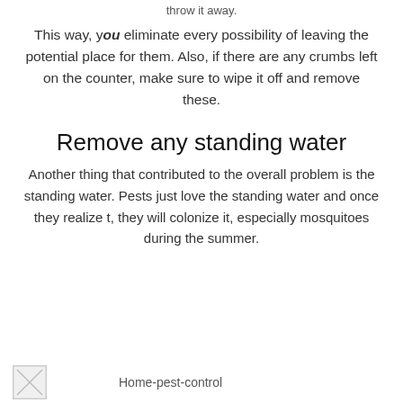throw it away.
This way, you eliminate every possibility of leaving the potential place for them. Also, if there are any crumbs left on the counter, make sure to wipe it off and remove these.
Remove any standing water
Another thing that contributed to the overall problem is the standing water. Pests just love the standing water and once they realize t, they will colonize it, especially mosquitoes during the summer.
[Figure (photo): Broken image placeholder for Home-pest-control]
Home-pest-control